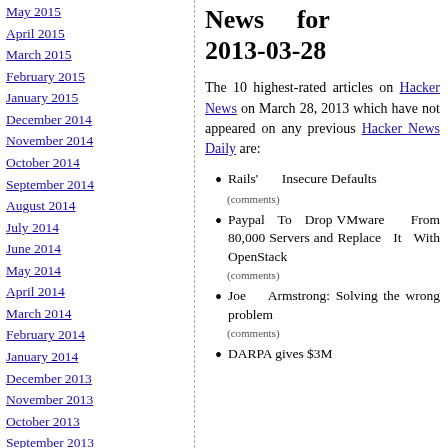May 2015
April 2015
March 2015
February 2015
January 2015
December 2014
November 2014
October 2014
September 2014
August 2014
July 2014
June 2014
May 2014
April 2014
March 2014
February 2014
January 2014
December 2013
November 2013
October 2013
September 2013
August 2013
July 2013
News for 2013-03-28
The 10 highest-rated articles on Hacker News on March 28, 2013 which have not appeared on any previous Hacker News Daily are:
Rails' Insecure Defaults
Paypal To Drop VMware From 80,000 Servers and Replace It With OpenStack
Joe Armstrong: Solving the wrong problem
DARPA gives $3M